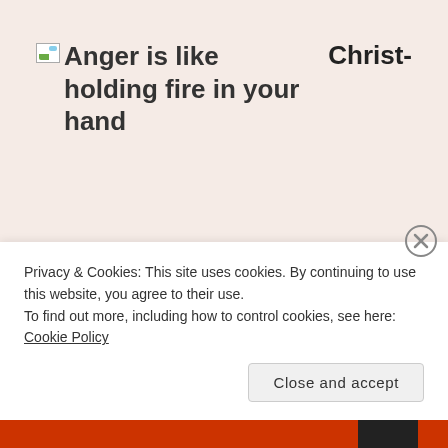Anger is like holding fire in your hand
Christ-
Privacy & Cookies: This site uses cookies. By continuing to use this website, you agree to their use.
To find out more, including how to control cookies, see here: Cookie Policy
Close and accept